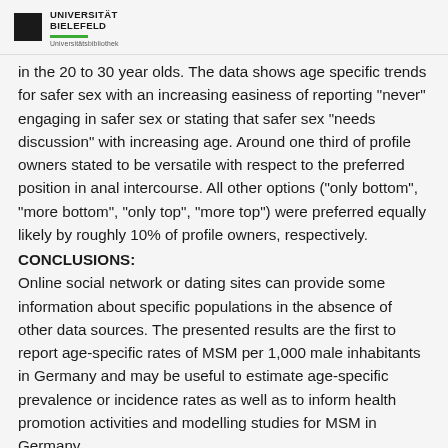UNIVERSITÄT BIELEFELD Universitätsbibliothek
in the 20 to 30 year olds. The data shows age specific trends for safer sex with an increasing easiness of reporting "never" engaging in safer sex or stating that safer sex "needs discussion" with increasing age. Around one third of profile owners stated to be versatile with respect to the preferred position in anal intercourse. All other options ("only bottom", "more bottom", "only top", "more top") were preferred equally likely by roughly 10% of profile owners, respectively.
CONCLUSIONS:
Online social network or dating sites can provide some information about specific populations in the absence of other data sources. The presented results are the first to report age-specific rates of MSM per 1,000 male inhabitants in Germany and may be useful to estimate age-specific prevalence or incidence rates as well as to inform health promotion activities and modelling studies for MSM in Germany.